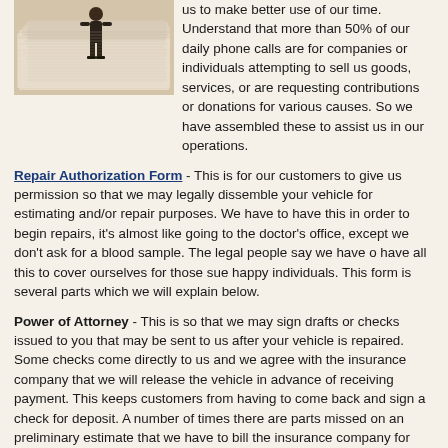[Figure (photo): Photo of a person standing on top of a large pile of papers/documents]
us to make better use of our time. Understand that more than 50% of our daily phone calls are for companies or individuals attempting to sell us goods, services, or are requesting contributions or donations for various causes. So we have assembled these to assist us in our operations.
Repair Authorization Form - This is for our customers to give us permission so that we may legally dissemble your vehicle for estimating and/or repair purposes. We have to have this in order to begin repairs, it's almost like going to the doctor's office, except we don't ask for a blood sample. The legal people say we have o have all this to cover ourselves for those sue happy individuals. This form is several parts which we will explain below.
Power of Attorney - This is so that we may sign drafts or checks issued to you that may be sent to us after your vehicle is repaired. Some checks come directly to us and we agree with the insurance company that we will release the vehicle in advance of receiving payment. This keeps customers from having to come back and sign a check for deposit. A number of times there are parts missed on an preliminary estimate that we have to bill the insurance company for and we usually complete the repairs before we receive the check.